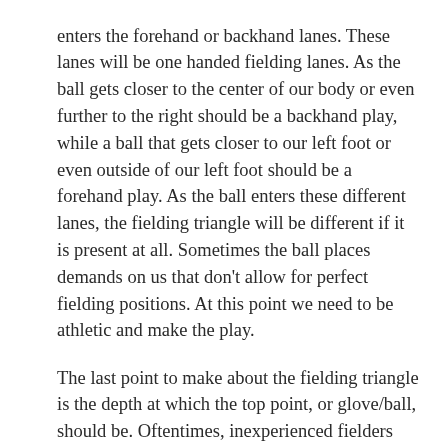enters the forehand or backhand lanes. These lanes will be one handed fielding lanes. As the ball gets closer to the center of our body or even further to the right should be a backhand play, while a ball that gets closer to our left foot or even outside of our left foot should be a forehand play. As the ball enters these different lanes, the fielding triangle will be different if it is present at all. Sometimes the ball places demands on us that don't allow for perfect fielding positions. At this point we need to be athletic and make the play.
The last point to make about the fielding triangle is the depth at which the top point, or glove/ball, should be. Oftentimes, inexperienced fielders get the top point of the fielding triangle too deep into the body. Our glove should establish the top point out in front, or at the very deepest, under the bill of our hat. This depth allows us to field the ball out in front, which keeps the ball, our glove, and our eyes in line. In turn, we are able to